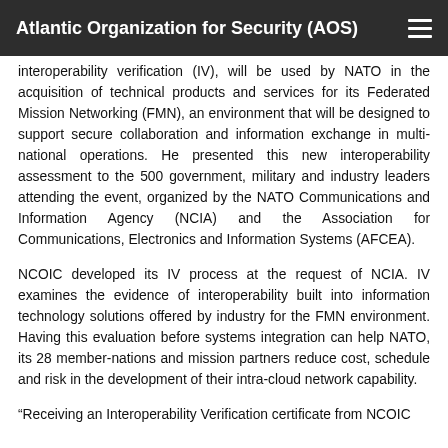Atlantic Organization for Security (AOS)
interoperability verification (IV), will be used by NATO in the acquisition of technical products and services for its Federated Mission Networking (FMN), an environment that will be designed to support secure collaboration and information exchange in multi-national operations. He presented this new interoperability assessment to the 500 government, military and industry leaders attending the event, organized by the NATO Communications and Information Agency (NCIA) and the Association for Communications, Electronics and Information Systems (AFCEA).
NCOIC developed its IV process at the request of NCIA. IV examines the evidence of interoperability built into information technology solutions offered by industry for the FMN environment. Having this evaluation before systems integration can help NATO, its 28 member-nations and mission partners reduce cost, schedule and risk in the development of their intra-cloud network capability.
“Receiving an Interoperability Verification certificate from NCOIC